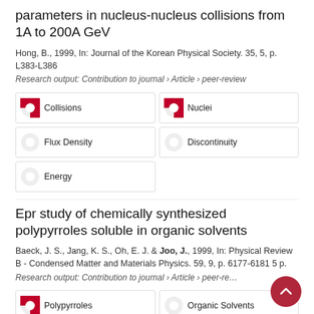parameters in nucleus-nucleus collisions from 1A to 200A GeV
Hong, B., 1999, In: Journal of the Korean Physical Society. 35, 5, p. L383-L386
Research output: Contribution to journal › Article › peer-review
100% Collisions
100% Nuclei
90% Flux Density
50% Discontinuity
50% Energy
Epr study of chemically synthesized polypyrroles soluble in organic solvents
Baeck, J. S., Jang, K. S., Oh, E. J. & Joo, J., 1999, In: Physical Review B - Condensed Matter and Materials Physics. 59, 9, p. 6177-6181 5 p.
Research output: Contribution to journal › Article › peer-re…
100% Polypyrroles
90% Organic Solvents